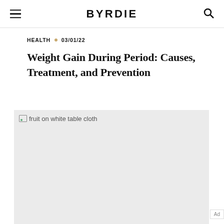BYRDIE
HEALTH • 03/01/22
Weight Gain During Period: Causes, Treatment, and Prevention
[Figure (photo): fruit on white table cloth — placeholder image with broken image icon visible]